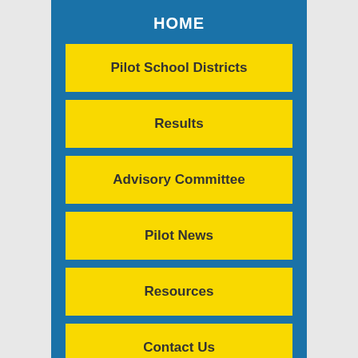HOME
Pilot School Districts
Results
Advisory Committee
Pilot News
Resources
Contact Us